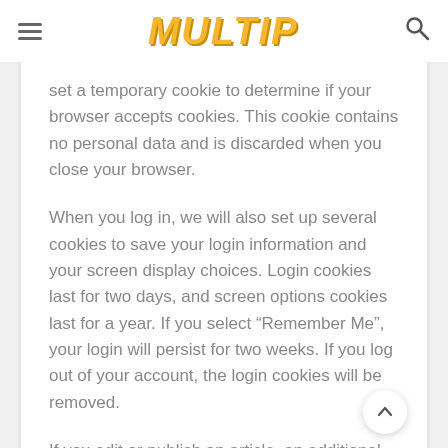MULTIP
set a temporary cookie to determine if your browser accepts cookies. This cookie contains no personal data and is discarded when you close your browser.
When you log in, we will also set up several cookies to save your login information and your screen display choices. Login cookies last for two days, and screen options cookies last for a year. If you select “Remember Me”, your login will persist for two weeks. If you log out of your account, the login cookies will be removed.
If you edit or publish an article, an additional cookie will be saved in your browser. This cookie includes no personal data and simply indicates the post ID of the article you just edited. It expires after 1 day.